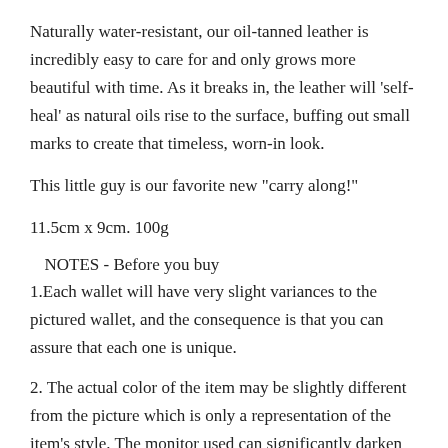Naturally water-resistant, our oil-tanned leather is incredibly easy to care for and only grows more beautiful with time. As it breaks in, the leather will 'self-heal' as natural oils rise to the surface, buffing out small marks to create that timeless, worn-in look.
This little guy is our favorite new "carry along!"
11.5cm x 9cm. 100g
NOTES - Before you buy
1.Each wallet will have very slight variances to the pictured wallet, and the consequence is that you can assure that each one is unique.
2. The actual color of the item may be slightly different from the picture which is only a representation of the item's style. The monitor used can significantly darken or change the displayed picture of the item, and there